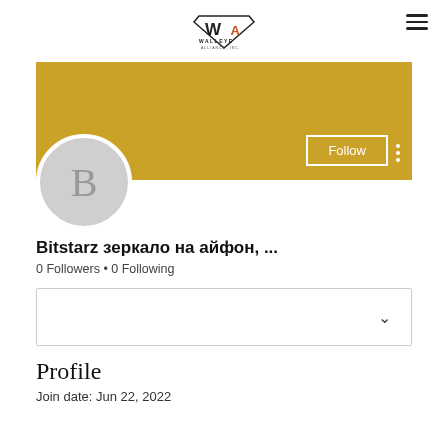Walleye Alliance Inc. — navigation header with logo and hamburger menu
[Figure (screenshot): User profile page showing gold banner with Follow button, avatar circle with letter B, username 'Bitstarz зеркало на айфон, ...', 0 Followers, 0 Following, dropdown box, Profile section header, and Join date: Jun 22, 2022]
Bitstarz зеркало на айфон, ...
0 Followers • 0 Following
Profile
Join date: Jun 22, 2022